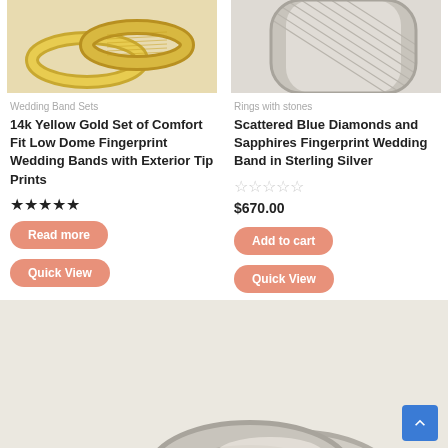[Figure (photo): Top portion of yellow gold wedding band set rings on white background]
[Figure (photo): Top portion of silver/white gold ring with mesh pattern on white background]
Wedding Band Sets
Rings with stones
14k Yellow Gold Set of Comfort Fit Low Dome Fingerprint Wedding Bands with Exterior Tip Prints
Scattered Blue Diamonds and Sapphires Fingerprint Wedding Band in Sterling Silver
★★★★★
☆☆☆☆☆
$670.00
Read more
Add to cart
Quick View
Quick View
[Figure (photo): Bottom partial view of silver/platinum fingerprint wedding band set rings on light background]